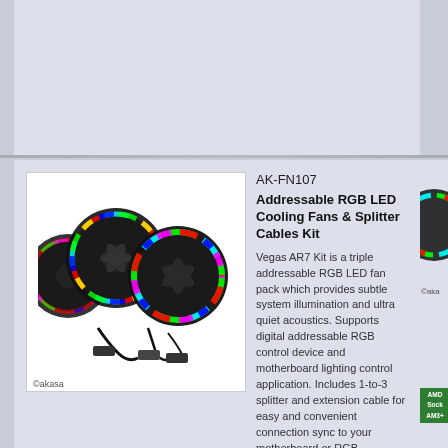[Figure (photo): Partial product card at top of page, cropped]
AK-FN107
Addressable RGB LED Cooling Fans & Splitter Cables Kit
Vegas AR7 Kit is a triple addressable RGB LED fan pack which provides subtle system illumination and ultra quiet acoustics. Supports digital addressable RGB control device and motherboard lighting control application. Includes 1-to-3 splitter and extension cable for easy and convenient connection sync to your motherboard or RGB controller.
[Figure (photo): Three RGB LED cooling fans with splitter cables, Akasa branded]
AK-CC7139HP01
Addressable RGB CPU cooler for Intel sockets
Addressable RGB fan blades with black anodised aluminium heatsink cooler illuminates your PC and cools the CPU. Supports RGB control devices and motherboard lighting control applications.
[Figure (photo): Addressable RGB CPU cooler with colorful illuminated fan blades and black heatsink]